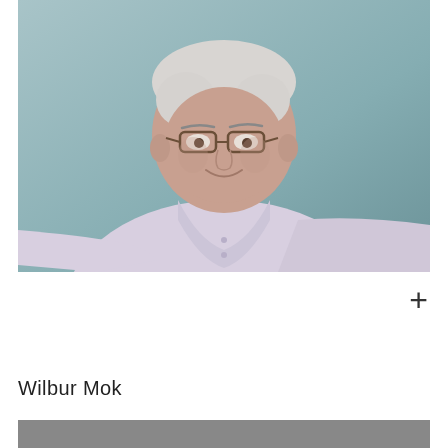[Figure (photo): Portrait of an older man with white/gray hair and glasses, wearing a light pink/lavender button-up shirt, smiling slightly, seated with arms resting, against a light blue-gray background.]
+
Wilbur Mok